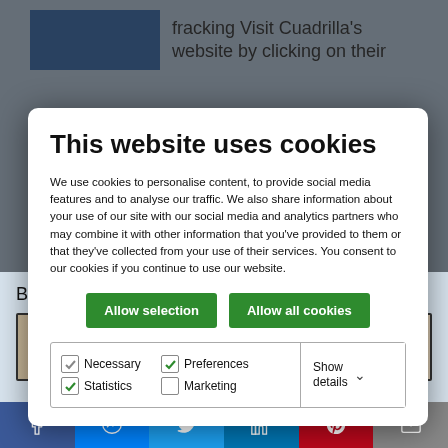fracking Visit Cuadrilla's website by clicking on their
This website uses cookies
We use cookies to personalise content, to provide social media features and to analyse our traffic. We also share information about your use of our site with our social media and analytics partners who may combine it with other information that you've provided to them or that they've collected from your use of their services. You consent to our cookies if you continue to use our website.
Allow selection   Allow all cookies
Necessary   Preferences   Statistics   Marketing   Show details
Birthday Jim!
[Figure (screenshot): Partial photo showing a person, background visible]
[Figure (infographic): Social media share bar with Facebook, Messenger, Twitter, LinkedIn, Pinterest, and Email buttons]